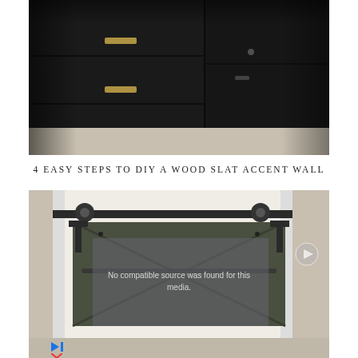[Figure (photo): Dark black kitchen cabinets with gold/brass bar handles, viewed from below. Three drawer fronts visible with dark hardware on a light wood floor.]
4 EASY STEPS TO DIY A WOOD SLAT ACCENT WALL
[Figure (photo): A dark olive-green barn door on a sliding track rail, mounted inside a white door frame. The door has decorative hardware. A video overlay reads 'No compatible source was found for this media.' An advertisement overlay shows Leesburg store info: OPEN 10AM-9PM, 241 Fort Evans Rd NE, Leesburg. Partially visible text behind ad reads 'Hold my Beer'.]